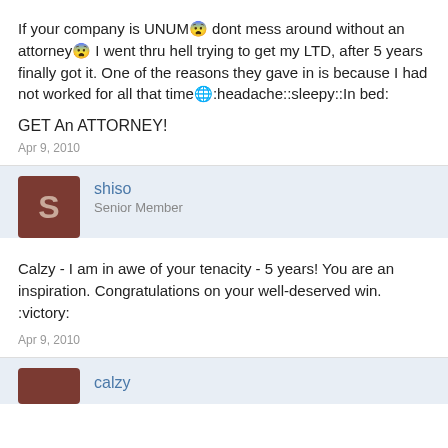If your company is UNUM😨 dont mess around without an attorney😨 I went thru hell trying to get my LTD, after 5 years finally got it. One of the reasons they gave in is because I had not worked for all that time🌐:headache::sleepy::In bed:
GET An ATTORNEY!
Apr 9, 2010
shiso
Senior Member
Calzy - I am in awe of your tenacity - 5 years! You are an inspiration. Congratulations on your well-deserved win. :victory:
Apr 9, 2010
calzy